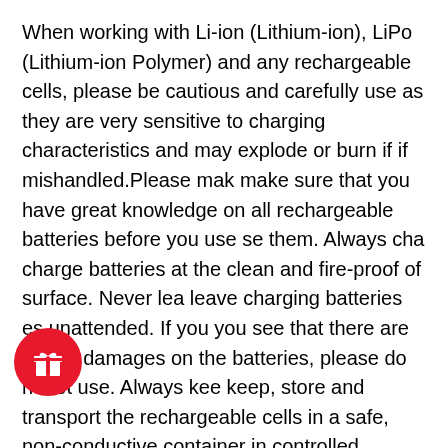When working with Li-ion (Lithium-ion), LiPo (Lithium-ion Polymer) and any rechargeable cells, please be cautious and carefully use as they are very sensitive to charging characteristics and may explode or burn if if mishandled.Please mak make sure that you have great knowledge on all rechargeable batteries before you use se them. Always cha charge batteries at the clean and fire-proof of surface. Never lea leave charging batteries es unattended. If you you see that there are visible damages on the batteries, please do not ot use. Always kee keep, store and transport the rechargeable cells in a safe, non-conductive container in controlled environment.
Myvpro.com and and any or all of of Myvpro.com’s p’s parent and subsidiary companies will not be held responsible or liable for any injury, damage, or defect, permanent or temporary that may caused by the improper use of a Li-ion (Lithium-ion), LiPo (Lithium-ion Polymer) and any rechargeable battery/batteries as well as as chargers. Please hay have a greater understanding